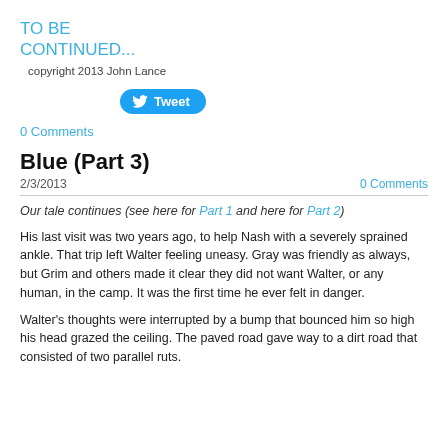TO BE CONTINUED...
copyright 2013 John Lance
[Figure (other): Twitter Tweet button with bird logo]
0 Comments
Blue (Part 3)
2/3/2013
0 Comments
Our tale continues (see here for Part 1 and here for Part 2)
His last visit was two years ago, to help Nash with a severely sprained ankle. That trip left Walter feeling uneasy. Gray was friendly as always, but Grim and others made it clear they did not want Walter, or any human, in the camp. It was the first time he ever felt in danger.
Walter's thoughts were interrupted by a bump that bounced him so high his head grazed the ceiling. The paved road gave way to a dirt road that consisted of two parallel ruts.